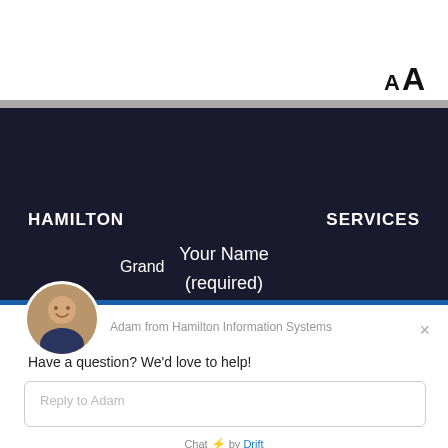[Figure (screenshot): Font size AA icon in top right corner of white area]
[Figure (screenshot): Dark navy header background with Hamilton and Services navigation]
HAMILTON
SERVICES
Your Name
(required)
Grand
[Figure (photo): Circular avatar photo of Adam from Hamilton Information Systems, a smiling man in a navy shirt]
Adam from Hamilton Information Systems
×
Have a question? We'd love to help!
Reply to Adam
Chat ⚡ by Drift